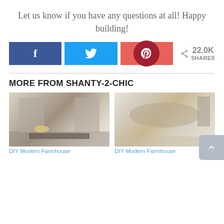Let us know if you have any questions at all!  Happy building!
[Figure (infographic): Social share buttons row: Facebook (blue), Twitter (light blue), Pinterest (red/pink with dark red circle icon), followed by a share count showing 22.0K SHARES with a share icon]
MORE FROM SHANTY-2-CHIC
[Figure (photo): DIY Modern Farmhouse table with lamps and flowers]
DIY Modern Farmhouse
[Figure (photo): DIY Modern Farmhouse table with decor items]
DIY Modern Farmhouse